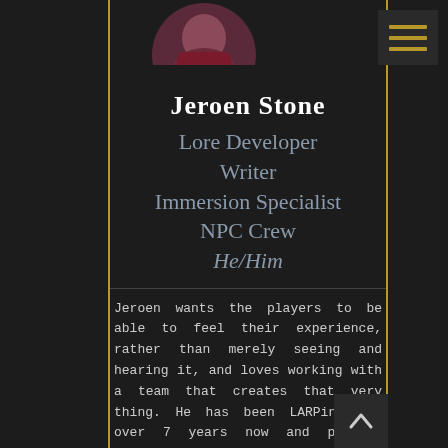[Figure (photo): Circular cropped profile photo of Jeroen Stone, showing a person with dark hair against a dark background with reddish clothing]
Jeroen Stone
Lore Developer
Writer
Immersion Specialist
NPC Crew
He/Him
Jeroen wants the players to be able to feel their experience, rather than merely seeing and hearing it, and loves working with a team that creates that very thing. He has been LARPing for over 7 years now and playing multiple characters with varying quirks and personalities helps him to understand himself as well as create an environment for the player that not